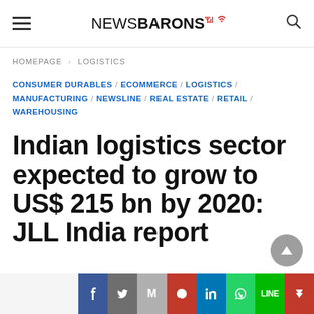NEWSBARONS
HOMEPAGE > LOGISTICS
CONSUMER DURABLES / ECOMMERCE / LOGISTICS / MANUFACTURING / NEWSLINE / REAL ESTATE / RETAIL / WAREHOUSING
Indian logistics sector expected to grow to US$ 215 bn by 2020: JLL India report